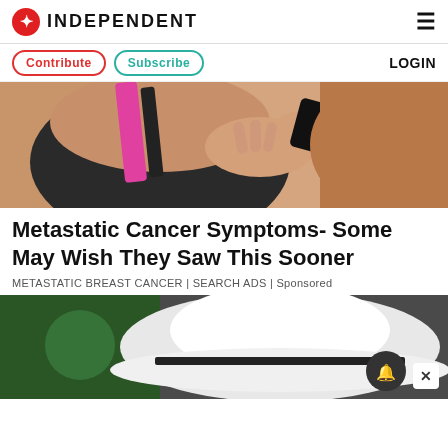INDEPENDENT
Contribute | Subscribe | LOGIN
[Figure (illustration): Illustration of a woman in a dark sports bra with pink strap holding her chest, related to breast cancer awareness ad]
Metastatic Cancer Symptoms- Some May Wish They Saw This Sooner
METASTATIC BREAST CANCER | SEARCH ADS | Sponsored
[Figure (photo): Photo of a person wearing a white hat, partial view, with notification bell overlay and close button]